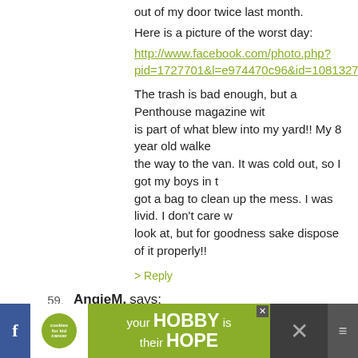out of my door twice last month.
Here is a picture of the worst day:
http://www.facebook.com/photo.php?pid=1727701&l=e974470c96&id=1081327986
The trash is bad enough, but a Penthouse magazine wit... is part of what blew into my yard!! My 8 year old walke... the way to the van. It was cold out, so I got my boys in t... got a bag to clean up the mess. I was livid. I don't care w... look at, but for goodness sake dispose of it properly!!
> Reply
59. AngieM. says: JANUARY 11TH, 2011 AT 8:52 AM
my ex-neighbor used to get into horrible fights with his... throwing things, knocking things over type of fights. I a... the cops on them twice. However, after they'd get into t... always at like 3am..they would have the LOUDEST mak... mean i was scared they were gonna wake up my daught...
[Figure (screenshot): Advertisement banner at the bottom: cookies for kid cancer logo, 'your HOBBY is their HOPE' on green background, close X button, social media icons]